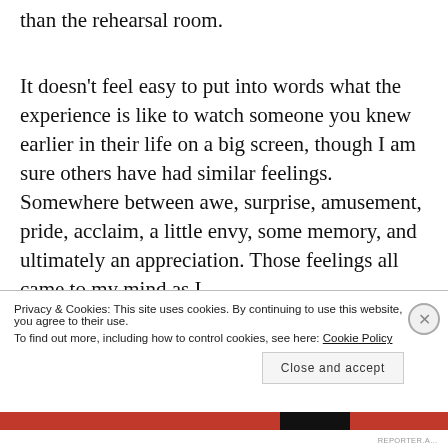than the rehearsal room.
It doesn't feel easy to put into words what the experience is like to watch someone you knew earlier in their life on a big screen, though I am sure others have had similar feelings. Somewhere between awe, surprise, amusement, pride, acclaim, a little envy, some memory, and ultimately an appreciation. Those feelings all came to my mind as I
Privacy & Cookies: This site uses cookies. By continuing to use this website, you agree to their use.
To find out more, including how to control cookies, see here: Cookie Policy
Close and accept